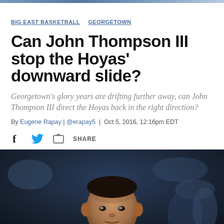BIG EAST BASKETBALL  GEORGETOWN
Can John Thompson III stop the Hoyas' downward slide?
Georgetown's glory years are drifting further away, can John Thompson III direct the Hoyas back in the right direction?
By Eugene Rapay | @erapay5 | Oct 5, 2016, 12:16pm EDT
SHARE
[Figure (photo): Photo of a man in a suit jacket looking forward, with a blurred arena/crowd background in blue tones]